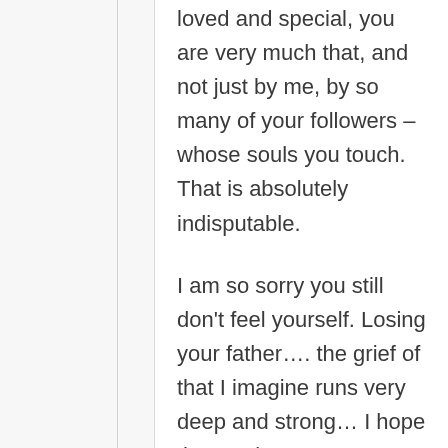loved and special, you are very much that, and not just by me, by so many of your followers – whose souls you touch. That is absolutely indisputable.

I am so sorry you still don't feel yourself. Losing your father…. the grief of that I imagine runs very deep and strong… I hope that as time